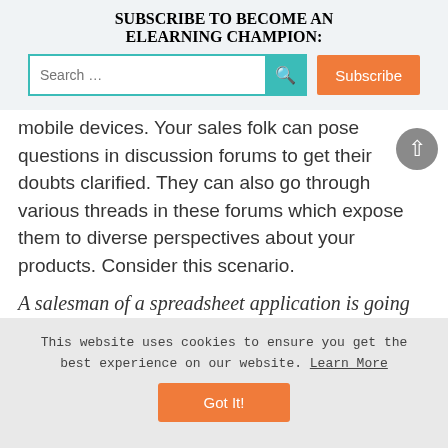SUBSCRIBE TO BECOME AN ELEARNING CHAMPION:
mobile devices. Your sales folk can pose questions in discussion forums to get their doubts clarified. They can also go through various threads in these forums which expose them to diverse perspectives about your products. Consider this scenario.
A salesman of a spreadsheet application is going through a thread in a discussion forum and finds that
This website uses cookies to ensure you get the best experience on our website. Learn More